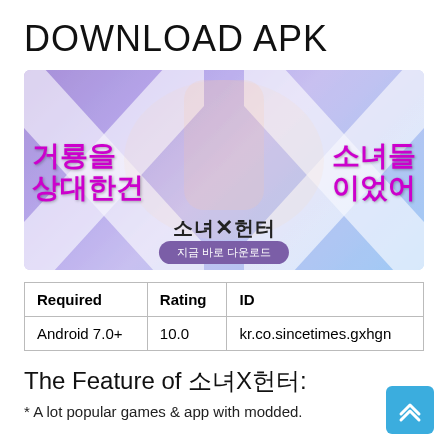DOWNLOAD APK
[Figure (illustration): Game banner for 소녀X헌터 (Girl X Hunter) mobile game showing anime-style characters, large X shapes in background, Korean text reading '거룡을 상대한건 소녀들이었어' (It was girls who fought the dragons), and a download button '지금 바로 다운로드']
| Required | Rating | ID |
| --- | --- | --- |
| Android 7.0+ | 10.0 | kr.co.sincetimes.gxhgn |
The Feature of 소녀X헌터:
* A lot popular games & app with modded.